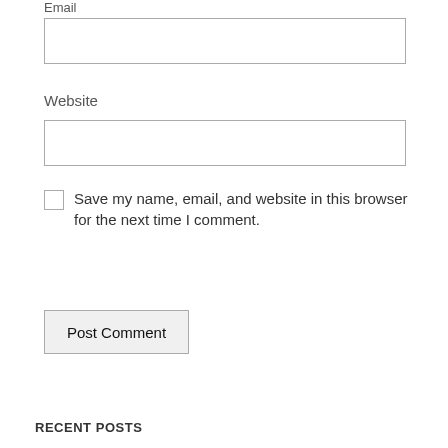Email
[Figure (other): Email input text field]
Website
[Figure (other): Website input text field]
Save my name, email, and website in this browser for the next time I comment.
Post Comment
RECENT POSTS